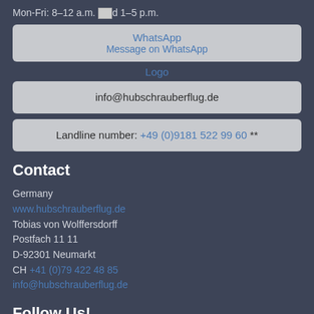Mon-Fri: 8–12 a.m. and 1–5 p.m.
[Figure (other): WhatsApp button with logo and 'Message on WhatsApp' link]
[Figure (logo): Logo link]
info@hubschrauberflug.de
Landline number: +49 (0)9181 522 99 60 **
Contact
Germany
www.hubschrauberflug.de
Tobias von Wolffersdorff
Postfach 11 11
D-92301 Neumarkt
CH +41 (0)79 422 48 85
info@hubschrauberflug.de
Follow Us!